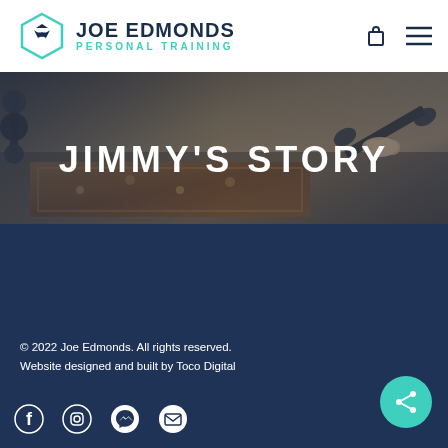Joe Edmonds Personal Training
JIMMY'S STORY
[Figure (photo): Background gym photo showing dumbbells and exercise equipment, a person using workout equipment with a patterned rug on the floor]
© 2022 Joe Edmonds. All rights reserved. Website designed and built by Toco Digital
[Figure (logo): Social media icons row: Facebook, Instagram, Messenger, Email]
[Figure (other): Teal circular share button with share icon]